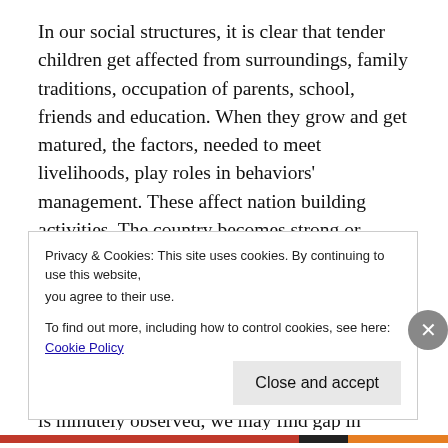In our social structures, it is clear that tender children get affected from surroundings, family traditions, occupation of parents, school, friends and education. When they grow and get matured, the factors, needed to meet livelihoods, play roles in behaviors' management. These affect nation building activities. The country becomes strong or weak, depends from here on the influences of leaders and their behaviors.
We are finding that we are missing and fighting with all for self. It is a matter of respect if someone walks the talk. If activities of anyone is minutely observed, we may find gap in credibility. So example is better than percept. Such
Privacy & Cookies: This site uses cookies. By continuing to use this website, you agree to their use.
To find out more, including how to control cookies, see here: Cookie Policy
Close and accept